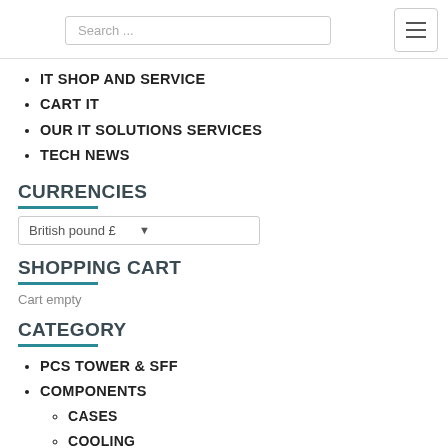Search ...
IT SHOP AND SERVICE
CART IT
OUR IT SOLUTIONS SERVICES
TECH NEWS
CURRENCIES
British pound £
SHOPPING CART
Cart empty
CATEGORY
PCS TOWER & SFF
COMPONENTS
CASES
COOLING
GRAPHICS CARDS GPU